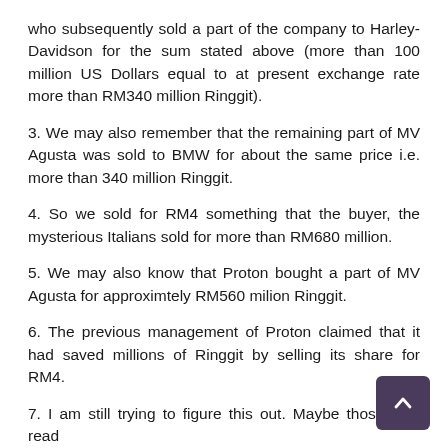who subsequently sold a part of the company to Harley-Davidson for the sum stated above (more than 100 million US Dollars equal to at present exchange rate more than RM340 million Ringgit).
3. We may also remember that the remaining part of MV Agusta was sold to BMW for about the same price i.e. more than 340 million Ringgit.
4. So we sold for RM4 something that the buyer, the mysterious Italians sold for more than RM680 million.
5. We may also know that Proton bought a part of MV Agusta for approximtely RM560 milion Ringgit.
6. The previous management of Proton claimed that it had saved millions of Ringgit by selling its share for RM4.
7. I am still trying to figure this out. Maybe those who read